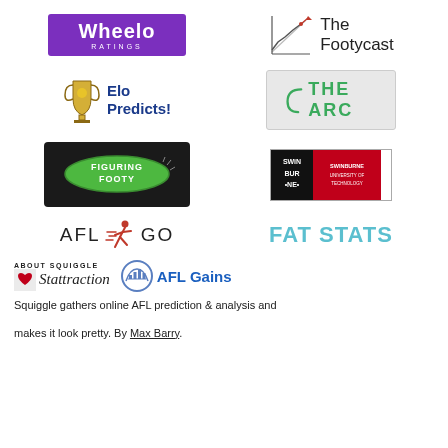[Figure (logo): Wheelo Ratings logo — purple rectangle with white bold text 'Wheelo' and smaller 'RATINGS' below]
[Figure (logo): The Footycast logo — line chart icon with arrow and text 'The Footycast']
[Figure (logo): Elo Predicts! logo — trophy icon with blue bold text 'Elo Predicts!']
[Figure (logo): THE ARC logo — grey box with green arc symbol and green caps text 'THE ARC']
[Figure (logo): Figuring Footy logo — dark background with green oval and stylized text 'Figuring Footy']
[Figure (logo): Swinburne University of Technology logo — black and red tile logo]
[Figure (logo): AFL GO logo — black text 'AFL GO' with running figure icon]
[Figure (logo): FAT STATS logo — large light blue bold uppercase text]
[Figure (logo): About Squiggle / Stattraction / AFL Gains logos row with heart icon]
Squiggle gathers online AFL prediction & analysis and makes it look pretty. By Max Barry.